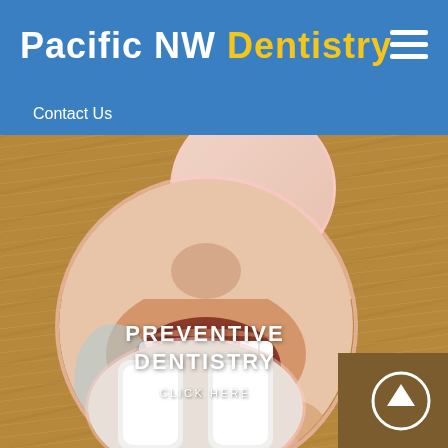Pacific NW Dentistry
Contact Us
[Figure (screenshot): Circular image of a person's open mouth with white teeth being worked on, overlaid with text 'PREVENTIVE DENTISTRY' and 'CLICK HERE'. Set against a wood-grain background. Partial circles visible at top and bottom.]
PREVENTIVE DENTISTRY
CLICK HERE